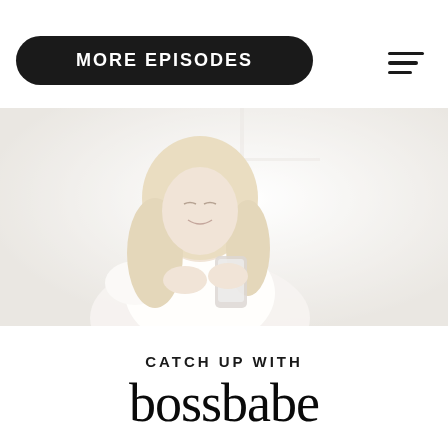MORE EPISODES
[Figure (photo): Blonde woman in white top sitting and looking at a smartphone, high-key bright white background, slightly washed out/faded photo]
CATCH UP WITH
bossbabe